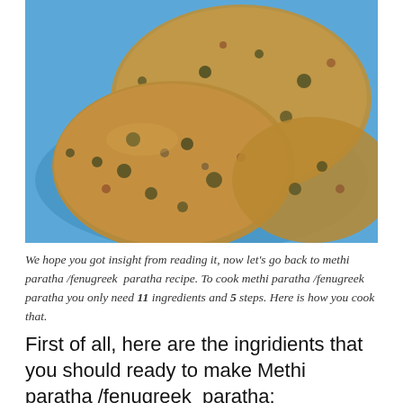[Figure (photo): Close-up photograph of methi paratha (fenugreek flatbread) pieces stacked on a blue plate, showing golden-brown flatbreads speckled with dark green fenugreek leaves]
We hope you got insight from reading it, now let's go back to methi paratha /fenugreek paratha recipe. To cook methi paratha /fenugreek paratha you only need 11 ingredients and 5 steps. Here is how you cook that.
First of all, here are the ingridients that you should ready to make Methi paratha /fenugreek paratha: